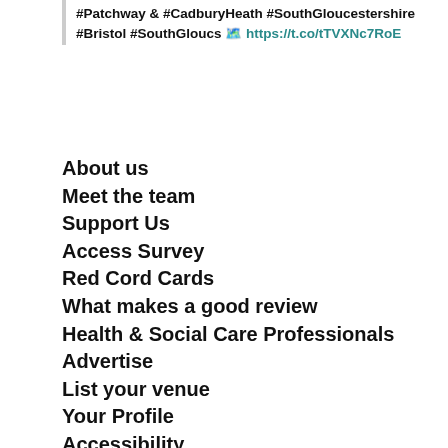#Patchway & #CadburyHeath #SouthGloucestershire #Bristol #SouthGloucs 🗺️ https://t.co/tTVXNc7RoE
About us
Meet the team
Support Us
Access Survey
Red Cord Cards
What makes a good review
Health & Social Care Professionals
Advertise
List your venue
Your Profile
Accessibility
FAQs
Contact us